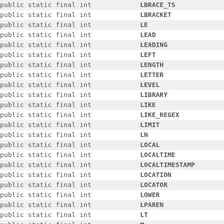| modifier | name |
| --- | --- |
| public static final int | LBRACE_TS |
| public static final int | LBRACKET |
| public static final int | LE |
| public static final int | LEAD |
| public static final int | LEADING |
| public static final int | LEFT |
| public static final int | LENGTH |
| public static final int | LETTER |
| public static final int | LEVEL |
| public static final int | LIBRARY |
| public static final int | LIKE |
| public static final int | LIKE_REGEX |
| public static final int | LIMIT |
| public static final int | LN |
| public static final int | LOCAL |
| public static final int | LOCALTIME |
| public static final int | LOCALTIMESTAMP |
| public static final int | LOCATION |
| public static final int | LOCATOR |
| public static final int | LOWER |
| public static final int | LPAREN |
| public static final int | LT |
| public static final int | M |